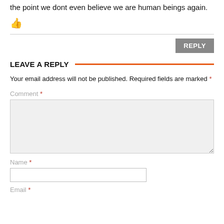the point we dont even believe we are human beings again.
[Figure (illustration): Orange thumbs-up icon]
REPLY
LEAVE A REPLY
Your email address will not be published. Required fields are marked *
Comment *
Name *
Email *